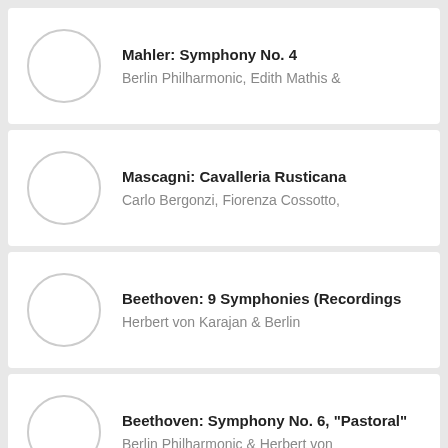Mahler: Symphony No. 4
Berlin Philharmonic, Edith Mathis &
Mascagni: Cavalleria Rusticana
Carlo Bergonzi, Fiorenza Cossotto,
Beethoven: 9 Symphonies (Recordings
Herbert von Karajan & Berlin
Beethoven: Symphony No. 6, "Pastoral"
Berlin Philharmonic & Herbert von